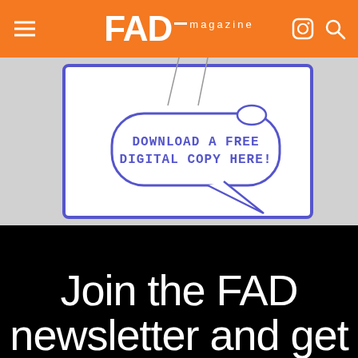FAD magazine
[Figure (illustration): Banner image with a speech bubble on a grey/purple background saying 'DOWNLOAD A FREE DIGITAL COPY HERE!' in a comic book style illustration with a purple border frame]
Join the FAD newsletter and get